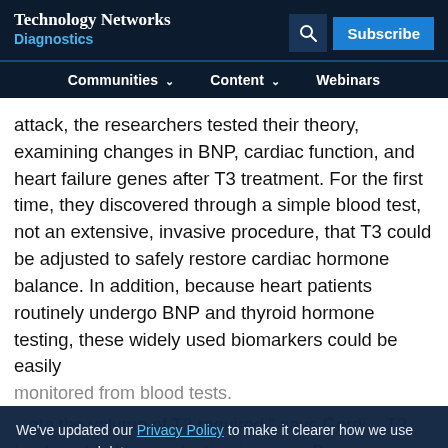Technology Networks Diagnostics
Communities Content Webinars
attack, the researchers tested their theory, examining changes in BNP, cardiac function, and heart failure genes after T3 treatment. For the first time, they discovered through a simple blood test, not an extensive, invasive procedure, that T3 could be adjusted to safely restore cardiac hormone balance. In addition, because heart patients routinely undergo BNP and thyroid hormone testing, these widely used biomarkers could be easily monitored from blood tests.
We've updated our Privacy Policy to make it clearer how we use your personal data.
We use cookies to provide you with a better experience. You can read our Cookie Policy here.
...ate the volume of T3 required." says Gerdi... T3 treatment led to a reduction in serum B... as associated with
I Understand